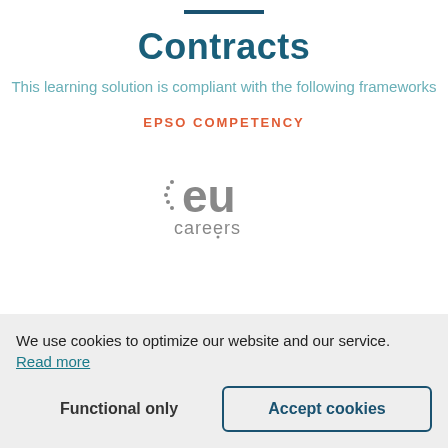Contracts
This learning solution is compliant with the following frameworks
EPSO COMPETENCY
[Figure (logo): EU Careers logo — stylized 'eu' text with dots forming a circular pattern, and 'careers' text below]
We use cookies to optimize our website and our service.
Read more
Functional only
Accept cookies